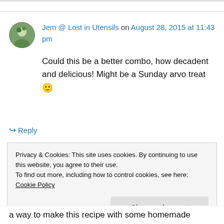Jem @ Lost in Utensils on August 28, 2015 at 11:43 pm
Could this be a better combo, how decadent and delicious! Might be a Sunday arvo treat 🙂
↪ Reply
Privacy & Cookies: This site uses cookies. By continuing to use this website, you agree to their use.
To find out more, including how to control cookies, see here: Cookie Policy
Close and accept
a way to make this recipe with some homemade